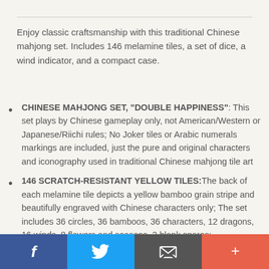Enjoy classic craftsmanship with this traditional Chinese mahjong set. Includes 146 melamine tiles, a set of dice, a wind indicator, and a compact case.
CHINESE MAHJONG SET, "DOUBLE HAPPINESS": This set plays by Chinese gameplay only, not American/Western or Japanese/Riichi rules; No Joker tiles or Arabic numerals markings are included, just the pure and original characters and iconography used in traditional Chinese mahjong tile art
146 SCRATCH-RESISTANT YELLOW TILES:The back of each melamine tile depicts a yellow bamboo grain stripe and beautifully engraved with Chinese characters only; The set includes 36 circles, 36 bamboos, 36 characters, 12 dragons, 16 winds, 8 flowers and seasons, 2 blank spares;
f  [twitter]  [email]  +